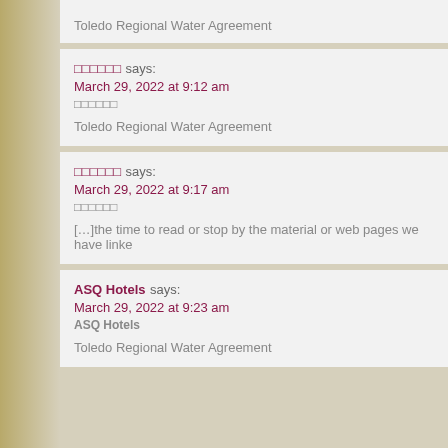Toledo Regional Water Agreement
□□□□□□ says:
March 29, 2022 at 9:12 am
□□□□□□
Toledo Regional Water Agreement
□□□□□□ says:
March 29, 2022 at 9:17 am
□□□□□□
[…]the time to read or stop by the material or web pages we have linke
ASQ Hotels says:
March 29, 2022 at 9:23 am
ASQ Hotels
Toledo Regional Water Agreement